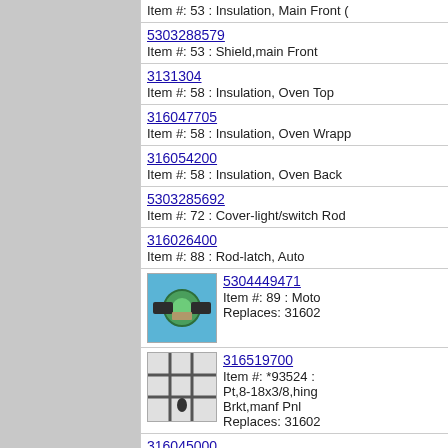Item #: 53 : Insulation, Main Front (partial, cut off)
5303288579
Item #: 53 : Shield,main Front
3131304
Item #: 58 : Insulation, Oven Top
316047705
Item #: 58 : Insulation, Oven Wrapp
316054200
Item #: 58 : Insulation, Oven Back
5303285692
Item #: 72 : Cover-light/switch Rod
316026400
Item #: 88 : Rod-latch, Auto
5304449471
Item #: 89 : Moto
Replaces: 31602
316519700
Item #: *93524 :
Pt,8-18x3/8,hing
Brkt,manf Pnl
Replaces: 31602
316045000